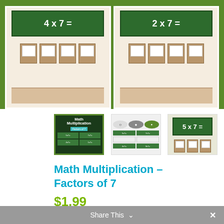[Figure (illustration): Two classroom scenes side by side on green background. Left panel shows a chalkboard with '4 x 7 =' and student desks. Right panel shows a chalkboard with '2 x 7 =' and student desks.]
[Figure (illustration): Thumbnail 1: Math Multiplication Factors of 7 cover page with dark background and green grid cells]
[Figure (illustration): Thumbnail 2: Math resource page showing diagrams and classroom images]
[Figure (illustration): Thumbnail 3: Chalkboard showing '5 x 7 =' with student desks]
Math Multiplication – Factors of 7
$1.99
This is a downloadable product. Download the file and print on your own printer.
Share This ∨  ✕